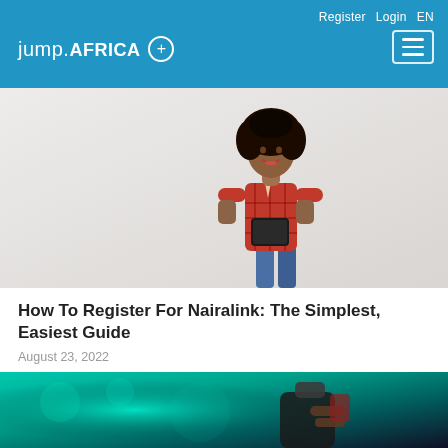Register  Login  EN
jump.AFRICA +
[Figure (photo): Photo of a young woman in a red plaid shirt standing against a white wall, looking down at her smartphone and smiling]
How To Register For Nairalink: The Simplest, Easiest Guide
August 23, 2022
[Figure (photo): Partially visible photo of a close-up of hands holding a phone with blurred green/teal lighting in the background]